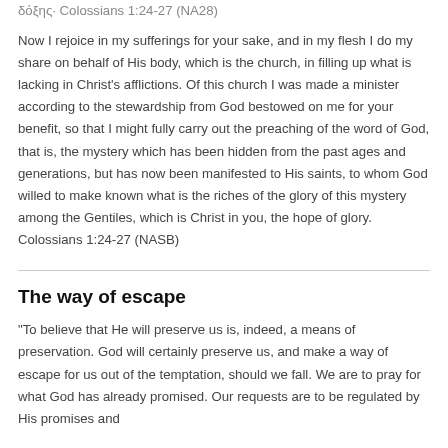δόξης· Colossians 1:24-27 (NA28)
Now I rejoice in my sufferings for your sake, and in my flesh I do my share on behalf of His body, which is the church, in filling up what is lacking in Christ's afflictions. Of this church I was made a minister according to the stewardship from God bestowed on me for your benefit, so that I might fully carry out the preaching of the word of God, that is, the mystery which has been hidden from the past ages and generations, but has now been manifested to His saints, to whom God willed to make known what is the riches of the glory of this mystery among the Gentiles, which is Christ in you, the hope of glory. Colossians 1:24-27 (NASB)
The way of escape
"To believe that He will preserve us is, indeed, a means of preservation. God will certainly preserve us, and make a way of escape for us out of the temptation, should we fall. We are to pray for what God has already promised. Our requests are to be regulated by His promises and